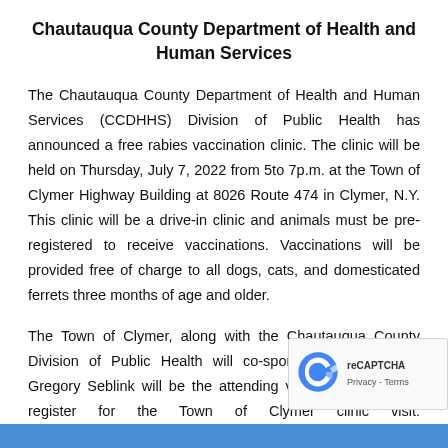Chautauqua County Department of Health and Human Services
The Chautauqua County Department of Health and Human Services (CCDHHS) Division of Public Health has announced a free rabies vaccination clinic. The clinic will be held on Thursday, July 7, 2022 from 5to 7p.m. at the Town of Clymer Highway Building at 8026 Route 474 in Clymer, N.Y. This clinic will be a drive-in clinic and animals must be pre-registered to receive vaccinations. Vaccinations will be provided free of charge to all dogs, cats, and domesticated ferrets three months of age and older.
The Town of Clymer, along with the Chautauqua County Division of Public Health will co-sponsor the clinic. Dr. Gregory Seblink will be the attending veterinarian. To pre-register for the Town of Clymer clinic visit: https://on.ny.gov/3zw...